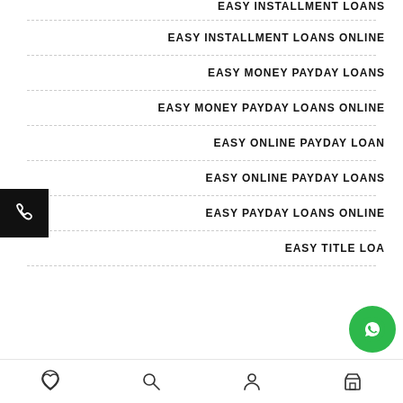EASY INSTALLMENT LOANS ONLINE
EASY MONEY PAYDAY LOAN
EASY MONEY PAYDAY LOANS ONLINE
EASY ONLINE PAYDAY LOAN
EASY ONLINE PAYDAY LOANS
EASY PAYDAY LOANS ONLINE
EASY TITLE LOA...